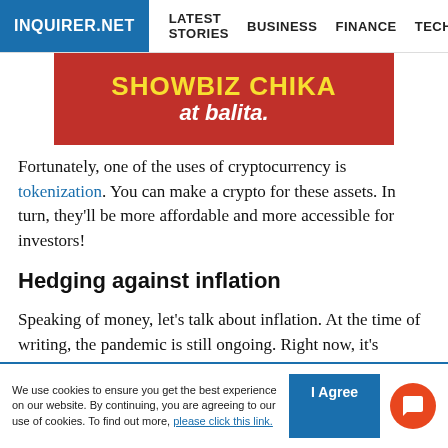INQUIRER.NET | LATEST STORIES | BUSINESS | FINANCE | TECHNOLO
[Figure (photo): Red advertisement banner reading 'SHOWBIZ CHIKA at balita.']
Fortunately, one of the uses of cryptocurrency is tokenization. You can make a crypto for these assets. In turn, they'll be more affordable and more accessible for investors!
Hedging against inflation
Speaking of money, let's talk about inflation. At the time of writing, the pandemic is still ongoing. Right now, it's causing prices to spike across the globe.
We use cookies to ensure you get the best experience on our website. By continuing, you are agreeing to our use of cookies. To find out more, please click this link.